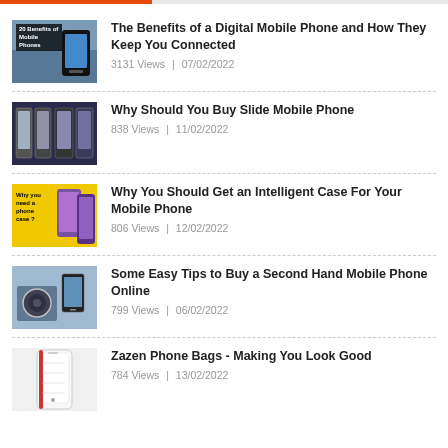The Benefits of a Digital Mobile Phone and How They Keep You Connected
3131 Views | 07/02/2022
Why Should You Buy Slide Mobile Phone
838 Views | 11/02/2022
Why You Should Get an Intelligent Case For Your Mobile Phone
806 Views | 12/02/2022
Some Easy Tips to Buy a Second Hand Mobile Phone Online
799 Views | 06/02/2022
Zazen Phone Bags - Making You Look Good
784 Views | 13/02/2022